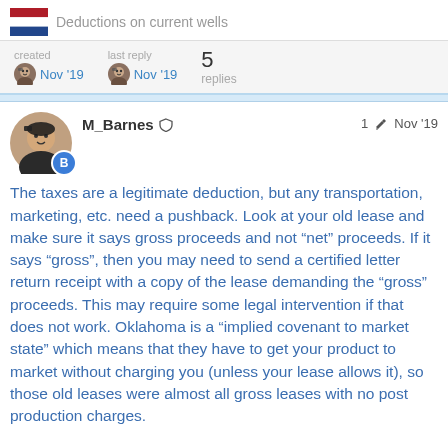Deductions on current wells
created Nov '19   last reply Nov '19   5 replies
[Figure (illustration): User avatar and profile section showing M_Barnes with moderator shield icon, edit icon, Nov '19 date]
The taxes are a legitimate deduction, but any transportation, marketing, etc. need a pushback. Look at your old lease and make sure it says gross proceeds and not “net” proceeds. If it says “gross”, then you may need to send a certified letter return receipt with a copy of the lease demanding the “gross” proceeds. This may require some legal intervention if that does not work. Oklahoma is a “implied covenant to market state” which means that they have to get your product to market without charging you (unless your lease allows it), so those old leases were almost all gross leases with no post production charges.